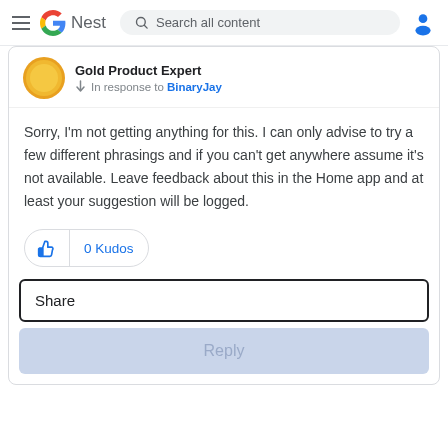Google Nest — Search all content
Gold Product Expert
In response to BinaryJay
Sorry, I'm not getting anything for this.  I can only advise to try a few different phrasings and if you can't get anywhere assume it's not available.  Leave feedback about this in the Home app and at least your suggestion will be logged.
0 Kudos
Share
Reply